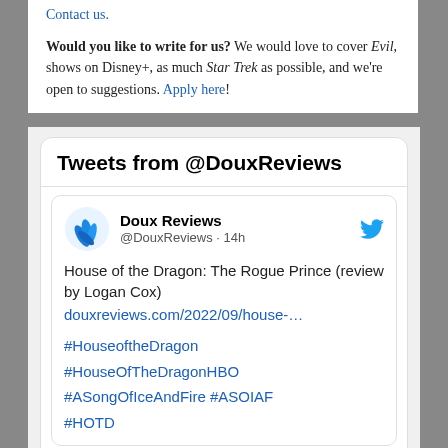Contact us.
Would you like to write for us? We would love to cover Evil, shows on Disney+, as much Star Trek as possible, and we're open to suggestions. Apply here!
Tweets from @DouxReviews
[Figure (screenshot): Tweet from @DouxReviews account showing a post about 'House of the Dragon: The Rogue Prince (review by Logan Cox)' with a link to douxreviews.com/2022/09/house-... and hashtags #HouseoftheDragon #HouseOfTheDragonHBO #ASongOfIceAndFire #ASOIAF #HOTD]
[Figure (photo): Partial photo strip showing an image related to House of the Dragon]